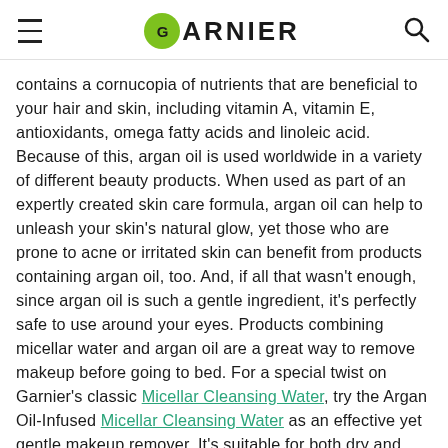GARNIER
contains a cornucopia of nutrients that are beneficial to your hair and skin, including vitamin A, vitamin E, antioxidants, omega fatty acids and linoleic acid. Because of this, argan oil is used worldwide in a variety of different beauty products. When used as part of an expertly created skin care formula, argan oil can help to unleash your skin's natural glow, yet those who are prone to acne or irritated skin can benefit from products containing argan oil, too. And, if all that wasn't enough, since argan oil is such a gentle ingredient, it's perfectly safe to use around your eyes. Products combining micellar water and argan oil are a great way to remove makeup before going to bed. For a special twist on Garnier's classic Micellar Cleansing Water, try the Argan Oil-Infused Micellar Cleansing Water as an effective yet gentle makeup remover. It's suitable for both dry and sensitive skin, works even on waterproof makeup, and has a